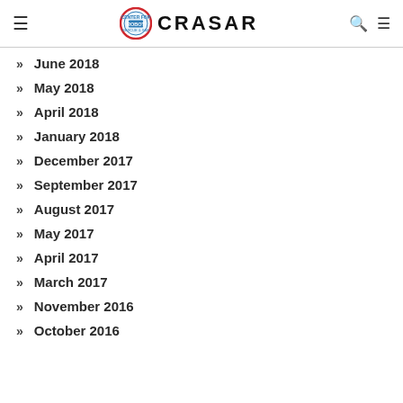CRASAR
June 2018
May 2018
April 2018
January 2018
December 2017
September 2017
August 2017
May 2017
April 2017
March 2017
November 2016
October 2016